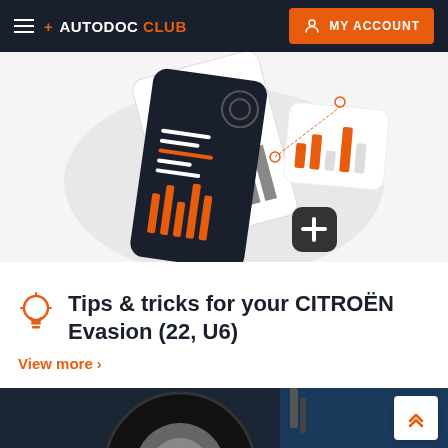+ AUTODOC CLUB  MY ACCOUNT
[Figure (illustration): Illustration of a smartphone with dashboard/analytics screens and a plus button, shown at an angle against a light gray circular background]
Tips & tricks for your CITROËN Evasion (22, U6)
View more >
[Figure (photo): Photo of a car wheel/tire viewed from below, with dark automotive background]